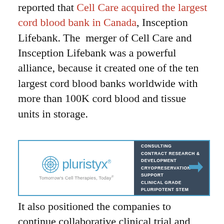reported that Cell Care acquired the largest cord blood bank in Canada, Insception Lifebank. The merger of Cell Care and Insception Lifebank was a powerful alliance, because it created one of the ten largest cord blood banks worldwide with more than 100K cord blood and tissue units in storage.
[Figure (other): Pluristyx advertisement banner with logo on white left side and dark navy right side listing: CMC AND ANALYTICAL CONSULTING, CONTRACT RESEARCH & DEVELOPMENT, CRYOPRESERVATION SUPPORT, CLINICAL GRADE PLURIPOTENT STEM CELLS, with a blue arrow]
It also positioned the companies to continue collaborative clinical trial and R&D activity.
The deal between Cell Care and